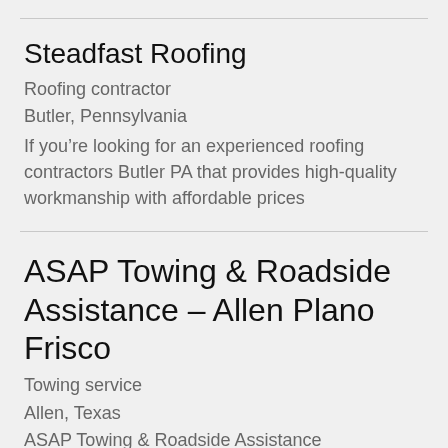Steadfast Roofing
Roofing contractor
Butler, Pennsylvania
If you’re looking for an experienced roofing contractors Butler PA that provides high-quality workmanship with affordable prices
ASAP Towing & Roadside Assistance – Allen Plano Frisco
Towing service
Allen, Texas
ASAP Towing & Roadside Assistance